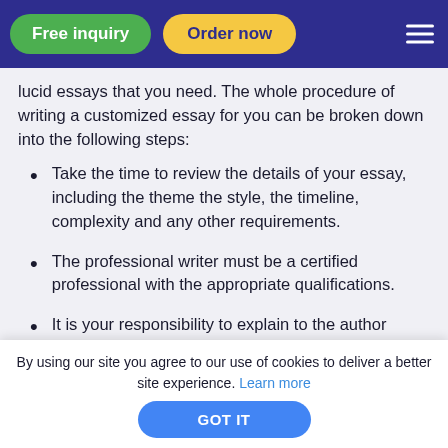Free inquiry | Order now
lucid essays that you need. The whole procedure of writing a customized essay for you can be broken down into the following steps:
Take the time to review the details of your essay, including the theme the style, the timeline, complexity and any other requirements.
The professional writer must be a certified professional with the appropriate qualifications.
It is your responsibility to explain to the author everything you want in your essay.
By using our site you agree to our use of cookies to deliver a better site experience. Learn more
GOT IT